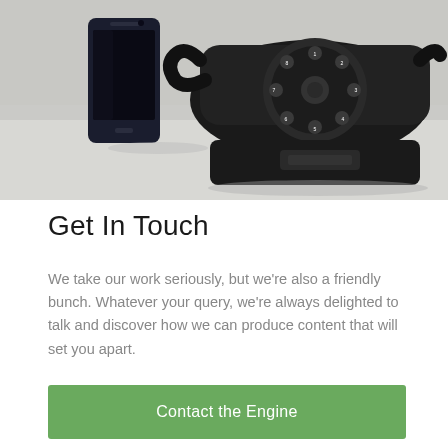[Figure (photo): A Samsung smartphone (dark blue/black) standing upright next to a vintage black rotary telephone, both placed on a light grey/white surface against a light background.]
Get In Touch
We take our work seriously, but we're also a friendly bunch. Whatever your query, we're always delighted to talk and discover how we can produce content that will set you apart.
Contact the Engine